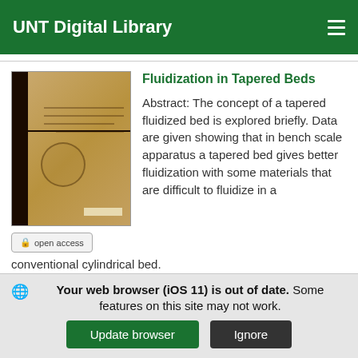UNT Digital Library
[Figure (photo): Thumbnail of a document cover page, showing a beige/brown book cover with dark spine and a circular stamp]
Fluidization in Tapered Beds
Abstract: The concept of a tapered fluidized bed is explored briefly. Data are given showing that in bench scale apparatus a tapered bed gives better fluidization with some materials that are difficult to fluidize in a conventional cylindrical bed.
open access
Your web browser (iOS 11) is out of date. Some features on this site may not work.